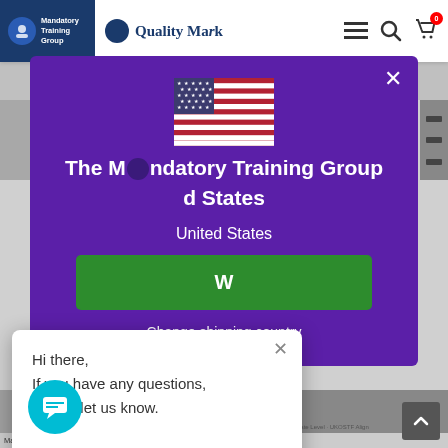[Figure (screenshot): Website header with Mandatory Training Group and Quality Mask logos, hamburger menu, search and cart icons]
[Figure (screenshot): Purple modal dialog with US flag, title 'The Mandatory Training Group', subtitle 'United States', shop now button, and change shipping country link]
Hi there,
If you have any questions, please let us know.

We're here to help!
#learn.develop.comply
Mandatory Training
Mandatory Training